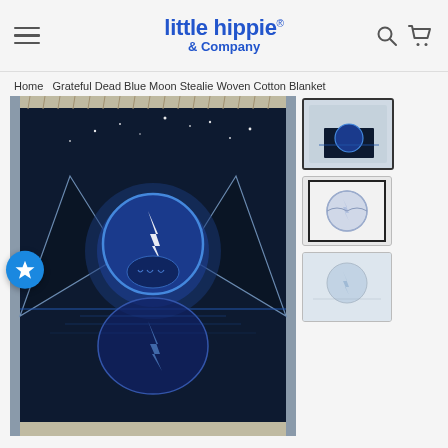little hippie & Company — navigation header with hamburger menu, logo, search and cart icons
Home   Grateful Dead Blue Moon Stealie Woven Cotton Blanket
[Figure (photo): Main product photo of a dark blue woven cotton blanket featuring the Grateful Dead Blue Moon Stealie design — a full moon with the Steal Your Face skull and lightning bolt logo rising over mountains, reflected in water below, on a dark navy blue background with stars. The blanket has a fringed edge. There is a blue circular star badge/wishlist button overlaid on the left side of the image.]
[Figure (photo): Thumbnail 1: blanket draped over a chair in a bright room setting]
[Figure (photo): Thumbnail 2: close-up flat-lay of the Stealie design on light gray background, framed]
[Figure (photo): Thumbnail 3: lighter/faded version or alternate colorway of the blanket, partially visible]